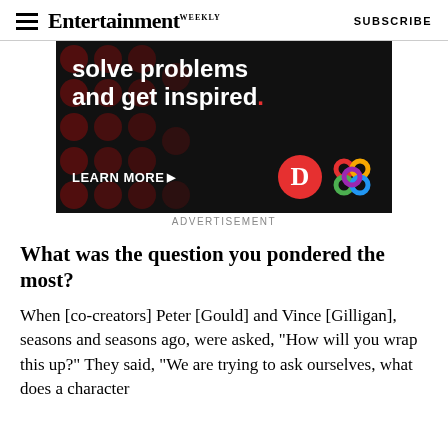Entertainment Weekly — SUBSCRIBE
[Figure (photo): Advertisement banner with black background, dark red polka dots, white text reading 'solve problems and get inspired.' with a red period, 'LEARN MORE' with arrow, and logos including a red circle with 'D' and a colorful interlocking pattern logo.]
ADVERTISEMENT
What was the question you pondered the most?
When [co-creators] Peter [Gould] and Vince [Gilligan], seasons and seasons ago, were asked, "How will you wrap this up?" They said, "We are trying to ask ourselves, what does a character